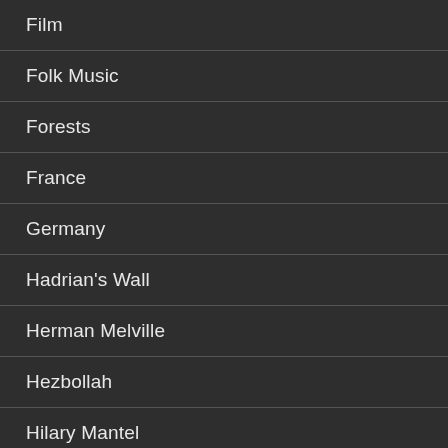Film
Folk Music
Forests
France
Germany
Hadrian's Wall
Herman Melville
Hezbollah
Hilary Mantel
History